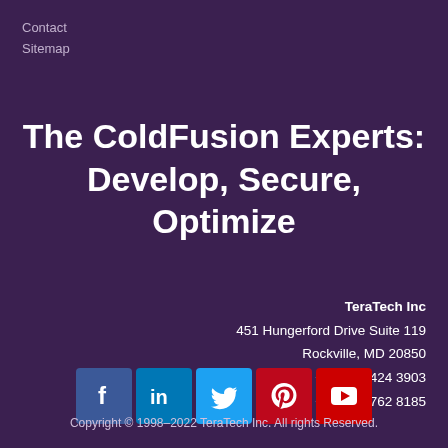Contact
Sitemap
The ColdFusion Experts: Develop, Secure, Optimize
TeraTech Inc
451 Hungerford Drive Suite 119
Rockville, MD 20850
Tel : +1 (301) 424 3903
Fax: +1 (301) 762 8185
[Figure (illustration): Social media icons: Facebook, LinkedIn, Twitter, Pinterest, YouTube]
Copyright © 1998–2022 TeraTech Inc. All rights Reserved.